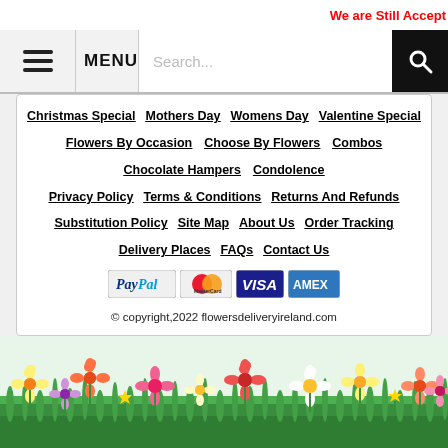We are Still Accept
MENU  Search...
Christmas Special  Mothers Day  Womens Day  Valentine Special
Flowers By Occasion  Choose By Flowers  Combos
Chocolate Hampers  Condolence
Privacy Policy  Terms & Conditions  Returns And Refunds
Substitution Policy  Site Map  About Us  Order Tracking
Delivery Places  FAQs  Contact Us
[Figure (logo): PayPal, MasterCard, VISA, AMEX payment logos]
© copyright,2022 flowersdeliveryireland.com
[Figure (illustration): Decorative flower strip with colorful flowers and green grass at the bottom of the page]